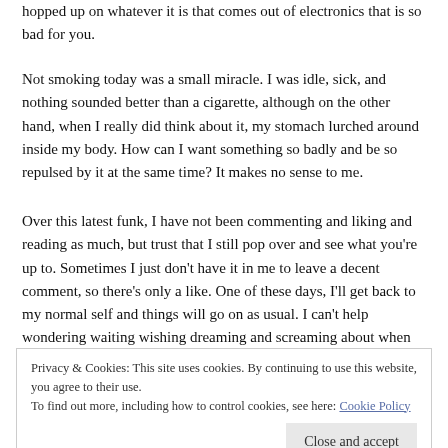hopped up on whatever it is that comes out of electronics that is so bad for you.
Not smoking today was a small miracle. I was idle, sick, and nothing sounded better than a cigarette, although on the other hand, when I really did think about it, my stomach lurched around inside my body. How can I want something so badly and be so repulsed by it at the same time? It makes no sense to me.
Over this latest funk, I have not been commenting and liking and reading as much, but trust that I still pop over and see what you're up to. Sometimes I just don't have it in me to leave a decent comment, so there's only a like. One of these days, I'll get back to my normal self and things will go on as usual. I can't help wondering waiting wishing dreaming and screaming about when that might be. Scream along with me if you want.
Privacy & Cookies: This site uses cookies. By continuing to use this website, you agree to their use. To find out more, including how to control cookies, see here: Cookie Policy